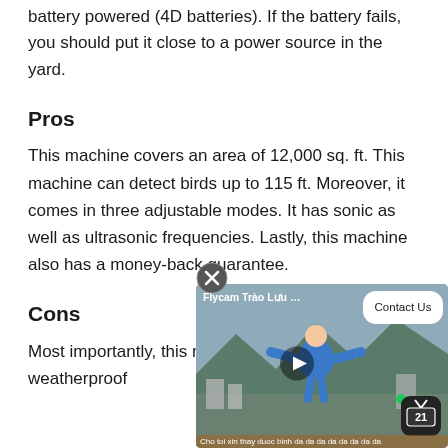battery powered (4D batteries). If the battery fails, you should put it close to a power source in the yard.
Pros
This machine covers an area of 12,000 sq. ft. This machine can detect birds up to 115 ft. Moreover, it comes in three adjustable modes. It has sonic as well as ultrasonic frequencies. Lastly, this machine also has a money-back guarantee.
Cons
Most importantly, this m... weatherproof
[Figure (screenshot): A video popup overlay showing a person in a blue jacket with arms outstretched outdoors, labeled 'Flycam Trào Lưu …', with a play button, a 'Contact Us' white rounded box, a green dot and TV channel 21 badge, and a close (X) button above the popup. A caption bar at the bottom reads 'Cho toi xin thay duoc binh da da da da da da da da'.]